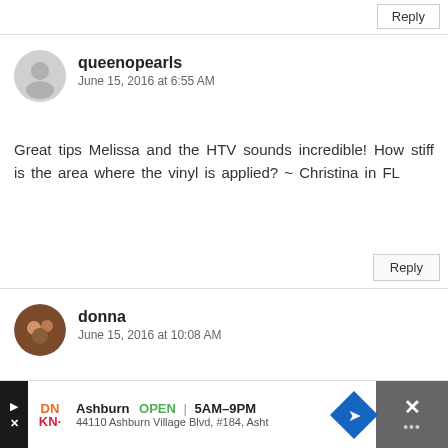Reply
queenopearls
June 15, 2016 at 6:55 AM
Great tips Melissa and the HTV sounds incredible! How stiff is the area where the vinyl is applied? ~ Christina in FL
Reply
donna
June 15, 2016 at 10:08 AM
glitter on anything is great!!
Reply
Ashburn OPEN | 5AM–9PM 44110 Ashburn Village Blvd, #184, Asht